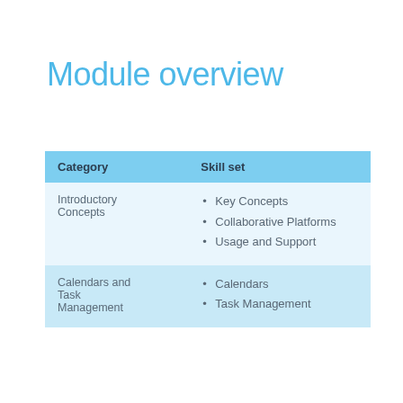Module overview
| Category | Skill set |
| --- | --- |
| Introductory Concepts | Key Concepts
Collaborative Platforms
Usage and Support |
| Calendars and Task Management | Calendars
Task Management |